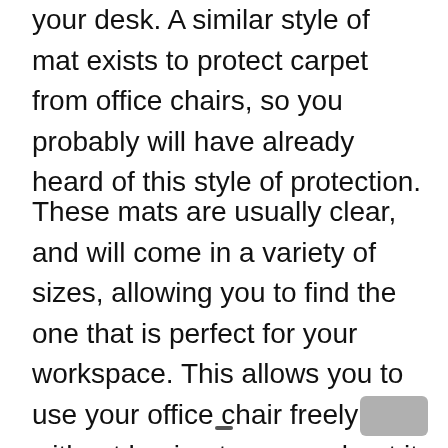your desk. A similar style of mat exists to protect carpet from office chairs, so you probably will have already heard of this style of protection.
These mats are usually clear, and will come in a variety of sizes, allowing you to find the one that is perfect for your workspace. This allows you to use your office chair freely without having to worry about it damaging your flooring.